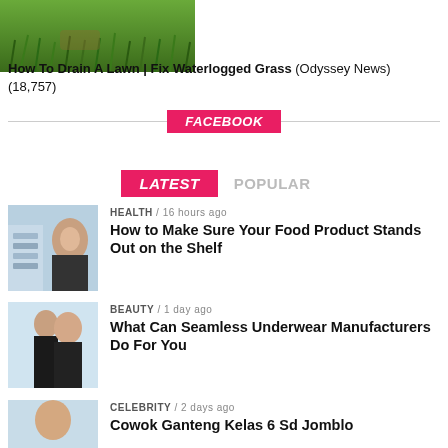[Figure (photo): Green grass lawn photo at top of page]
How To Drain A Lawn | Fix Waterlogged Grass (Odyssey News) (18,757)
FACEBOOK
LATEST   POPULAR
[Figure (photo): Woman in grocery store looking at food products on shelf]
HEALTH / 16 hours ago
How to Make Sure Your Food Product Stands Out on the Shelf
[Figure (photo): Man and woman couple in swimwear]
BEAUTY / 1 day ago
What Can Seamless Underwear Manufacturers Do For You
[Figure (photo): Celebrity photo partially visible]
CELEBRITY / 2 days ago
Cowok Ganteng Kelas 6 Sd Jomblo